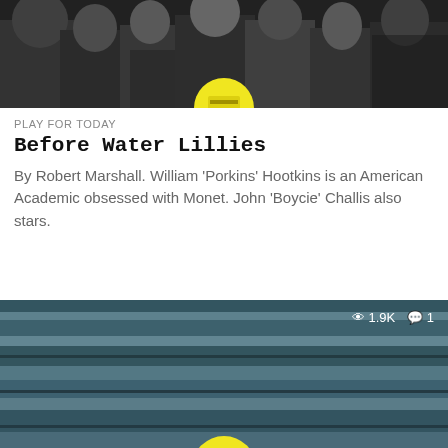[Figure (photo): Black and white group photo of several people, partially cropped at top, with yellow circular play button overlay at bottom center]
PLAY FOR TODAY
Before Water Lillies
By Robert Marshall. William 'Porkins' Hootkins is an American Academic obsessed with Monet. John 'Boycie' Challis also stars.
[Figure (screenshot): TV static / noise image in blue-grey tones with view count 1.9K and comment count 1 shown in top right, yellow circular play button at bottom center]
TV: P IS FOR...
Plum's Pots and Plants
SHORTLIVED SLAPSTICK for yer kids tipping an unsubtle-